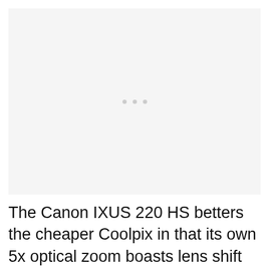[Figure (photo): A mostly blank/light gray placeholder image area with three small gray dots centered in the upper portion]
The Canon IXUS 220 HS betters the cheaper Coolpix in that its own 5x optical zoom boasts lens shift anti shake, rather than just the digital variety, in part enabling us to achieve consistently sharper